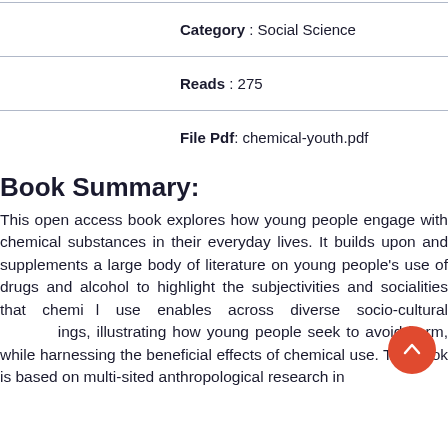Category : Social Science
Reads : 275
File Pdf: chemical-youth.pdf
Book Summary:
This open access book explores how young people engage with chemical substances in their everyday lives. It builds upon and supplements a large body of literature on young people's use of drugs and alcohol to highlight the subjectivities and socialities that chemical use enables across diverse socio-cultural settings, illustrating how young people seek to avoid harm, while harnessing the beneficial effects of chemical use. The book is based on multi-sited anthropological research in